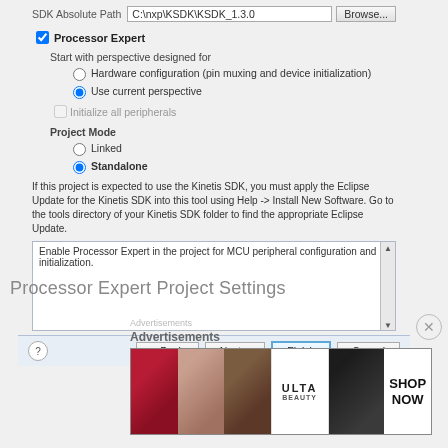[Figure (screenshot): Eclipse IDE dialog window showing SDK Absolute Path set to C:\nxp\KSDK\KSDK_1.3.0 with Browse button, Processor Expert checkbox checked, perspective options (Hardware configuration radio and Use current perspective radio selected), Initialize all peripherals checkbox unchecked, Project Mode section with Linked and Standalone (selected) radio buttons, informational text about Kinetis SDK, description text box, and Back/Next/Finish/Cancel buttons at bottom]
Processor Expert Project Settings
Advertisements
[Figure (photo): ULTA beauty advertisement banner showing makeup-related images (lips, brush, eyes) and SHOP NOW call to action]